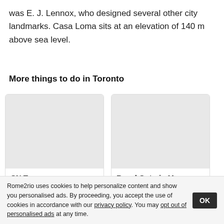was E. J. Lennox, who designed several other city landmarks. Casa Loma sits at an elevation of 140 m above sea level.
More things to do in Toronto
[Figure (photo): Placeholder image for CN Tower card]
CN Tower
The CN Tower (French: Tour CN) is a 553.3 m concrete communications and observation tower in downtown Toronto, Ontario, Canada. Built on the former
[Figure (photo): Placeholder image for Royal Ontario Museum card]
Royal Ontario Museum
The Royal Ontario Museum (R... French: Musée royal de l'Onta... museum of art, world culture... history in Toronto, Ontario, Ca...
Rome2rio uses cookies to help personalize content and show you personalised ads. By proceeding, you accept the use of cookies in accordance with our privacy policy. You may opt out of personalised ads at any time.